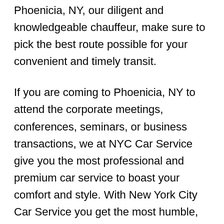Phoenicia, NY, our diligent and knowledgeable chauffeur, make sure to pick the best route possible for your convenient and timely transit.
If you are coming to Phoenicia, NY to attend the corporate meetings, conferences, seminars, or business transactions, we at NYC Car Service give you the most professional and premium car service to boast your comfort and style. With New York City Car Service you get the most humble, uniformed, and highly sophisticated chauffeur service with aggrandized convenience and private ride towards your destination.
It is quite a stressful and tedious task to rely on public vehicles or your car if you want to explore the